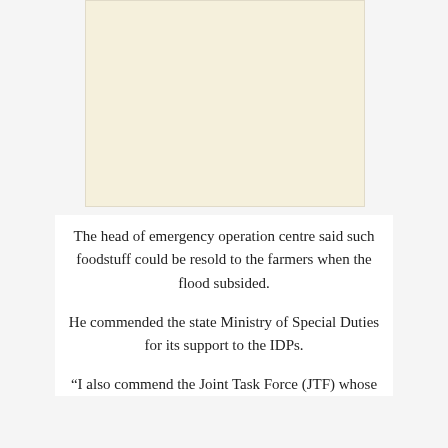[Figure (photo): Blank cream/off-white image placeholder area at the top of the page]
The head of emergency operation centre said such foodstuff could be resold to the farmers when the flood subsided.
He commended the state Ministry of Special Duties for its support to the IDPs.
“I also commend the Joint Task Force (JTF) whose